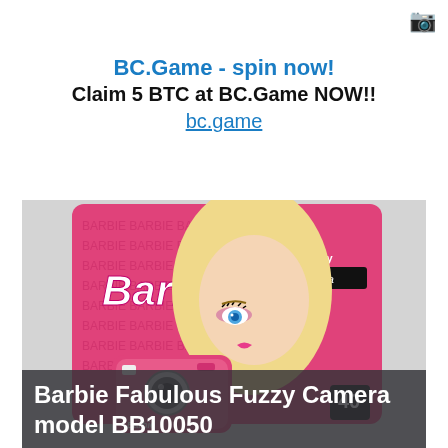BC.Game - spin now!
Claim 5 BTC at BC.Game NOW!!
bc.game
[Figure (photo): Barbie Fabulous Fuzzy Digital Camera model BB10050 product packaging photo showing Barbie doll face and a pink camera on a pink patterned background]
Barbie Fabulous Fuzzy Camera model BB10050